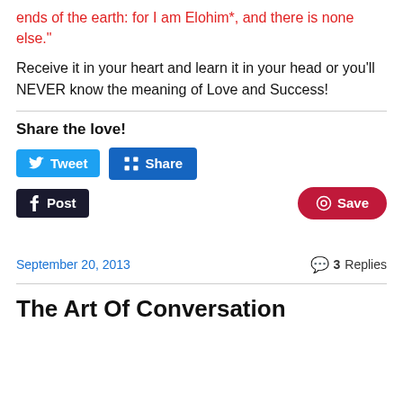ends of the earth: for I am Elohim*, and there is none else."
Receive it in your heart and learn it in your head or you'll NEVER know the meaning of Love and Success!
Share the love!
[Figure (infographic): Social share buttons: Tweet (Twitter), Share (LinkedIn), Post (Tumblr), Save (Pinterest)]
September 20, 2013   3 Replies
The Art Of Conversation